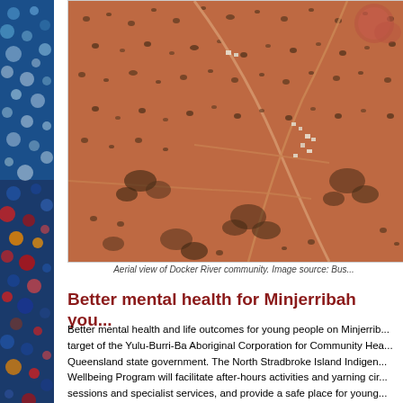[Figure (photo): Aerial satellite view of Docker River community showing red desert landscape with scattered vegetation and dirt roads]
Aerial view of Docker River community. Image source: Bus...
Better mental health for Minjerribah you...
Better mental health and life outcomes for young people on Minjerrib... target of the Yulu-Burri-Ba Aboriginal Corporation for Community Hea... Queensland state government. The North Stradbroke Island Indigen... Wellbeing Program will facilitate after-hours activities and yarning cir... sessions and specialist services, and provide a safe place for young... overwhelmed.